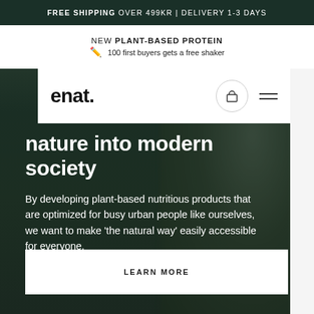FREE SHIPPING OVER 499KR | DELIVERY 1-3 DAYS
NEW PLANT-BASED PROTEIN
✏️ 100 first buyers gets a free shaker
enat.
nature into modern society
By developing plant-based nutritious products that are optimized for busy urban people like ourselves, we want to make 'the natural way' easily accessible for everyone.
LEARN MORE